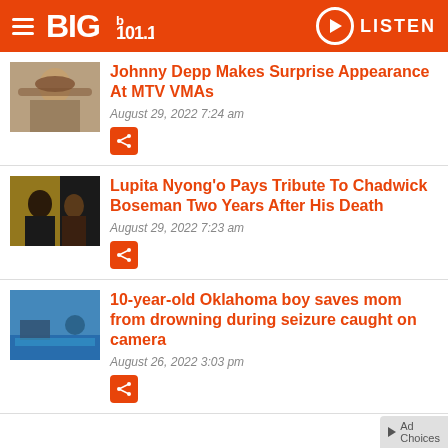BIG 101.1 — LISTEN
Johnny Depp Makes Surprise Appearance At MTV VMAs
August 29, 2022  7:24 am
Lupita Nyong'o Pays Tribute To Chadwick Boseman Two Years After His Death
August 29, 2022  7:23 am
10-year-old Oklahoma boy saves mom from drowning during seizure caught on camera
August 26, 2022  3:03 pm